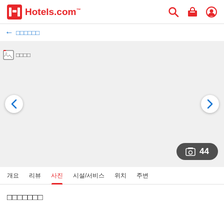Hotels.com
← □□□□□□
[Figure (screenshot): Hotel photo gallery image area with broken image placeholder, left/right navigation arrows, and a photo count pill showing 44 photos]
사진  44
개요  리뷰  사진  시설/서비스  위치  주변
□□□□□□□